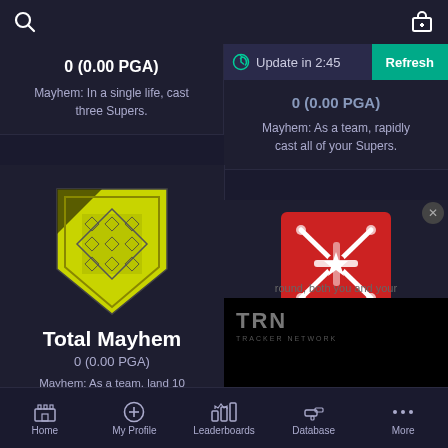Search | Gift
Update in 2:45 | Refresh
0 (0.00 PGA)
Mayhem: In a single life, cast three Supers.
0 (0.00 PGA)
Mayhem: As a team, rapidly cast all of your Supers.
[Figure (logo): Yellow shield badge with diamond pattern]
Total Mayhem
0 (0.00 PGA)
Mayhem: As a team, land 10 Super final blows without
[Figure (logo): Red square badge with white crossed swords and star emblem]
[Figure (logo): TRN Tracker Network logo]
round, both you and your
Home | My Profile | Leaderboards | Database | More